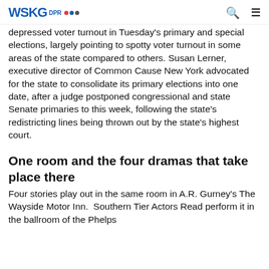WSKG
depressed voter turnout in Tuesday's primary and special elections, largely pointing to spotty voter turnout in some areas of the state compared to others. Susan Lerner, executive director of Common Cause New York advocated for the state to consolidate its primary elections into one date, after a judge postponed congressional and state Senate primaries to this week, following the state's redistricting lines being thrown out by the state's highest court.
One room and the four dramas that take place there
Four stories play out in the same room in A.R. Gurney's The Wayside Motor Inn.  Southern Tier Actors Read perform it in the ballroom of the Phelps